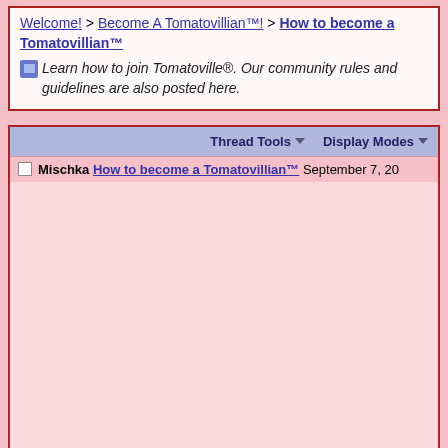Welcome! > Become A Tomatovillian™! > How to become a Tomatovillian™
Learn how to join Tomatoville®. Our community rules and guidelines are also posted here.
Thread Tools  Display Modes
Mischka How to become a Tomatovillian™ September 7, 20
Prev  Next
September 7, 2010  #1
Mischka
Tomatoville® Administrator
How to become a Tomatovillian™